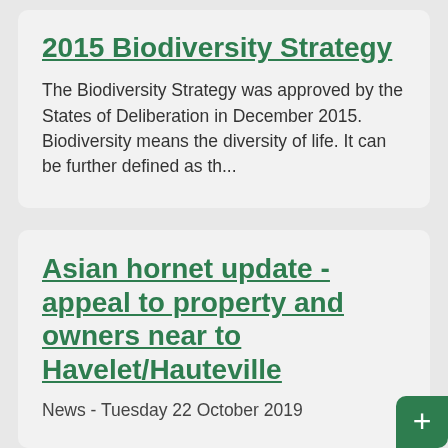2015 Biodiversity Strategy
The Biodiversity Strategy was approved by the States of Deliberation in December 2015. Biodiversity means the diversity of life. It can be further defined as th...
Asian hornet update - appeal to property and owners near to Havelet/Hauteville
News - Tuesday 22 October 2019